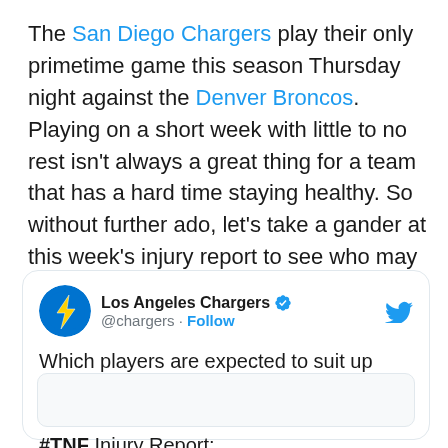The San Diego Chargers play their only primetime game this season Thursday night against the Denver Broncos. Playing on a short week with little to no rest isn't always a great thing for a team that has a hard time staying healthy. So without further ado, let's take a gander at this week's injury report to see who may or may not take the field at the Q this week.
[Figure (screenshot): Embedded tweet from @chargers (Los Angeles Chargers) with verified badge, asking 'Which players are expected to suit up tomorrow night?' and mentioning '#TNF Injury Report:' with a partial image card below.]